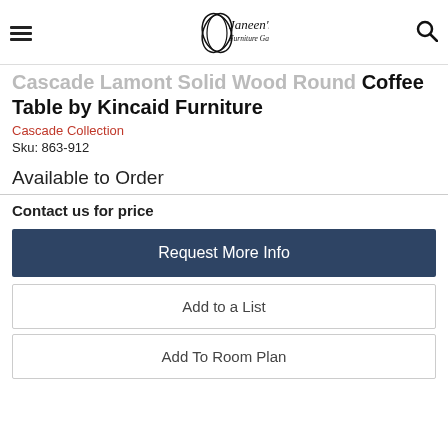Janeen's Furniture Gallery Inc.
Cascade Lamont Solid Wood Round Coffee Table by Kincaid Furniture
Cascade Collection
Sku: 863-912
Available to Order
Contact us for price
Request More Info
Add to a List
Add To Room Plan